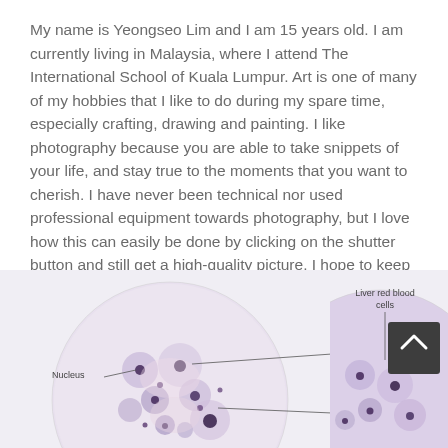My name is Yeongseo Lim and I am 15 years old. I am currently living in Malaysia, where I attend The International School of Kuala Lumpur. Art is one of many of my hobbies that I like to do during my spare time, especially crafting, drawing and painting. I like photography because you are able to take snippets of your life, and stay true to the moments that you want to cherish. I have never been technical nor used professional equipment towards photography, but I love how this can easily be done by clicking on the shutter button and still get a high-quality picture. I hope to keep experimenting in the fields of photography. Yeongseo won in the Photography category in the 2017 and 2018 competitions.
[Figure (photo): Microscope slide images showing biological cells. Left circle labeled with 'Nucleus' and 'Amphiuma cell' and 'Bile Duct'. Right circle partially visible labeled 'Liver red blood cells'. Dark button overlay with upward chevron visible on right side.]